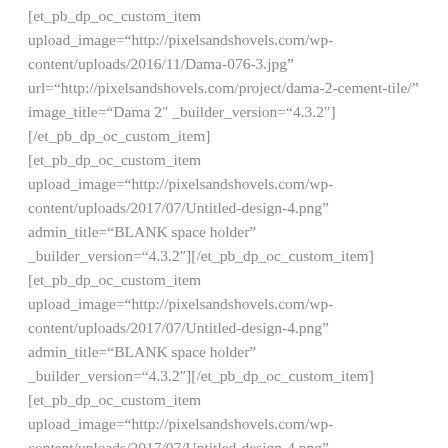[et_pb_dp_oc_custom_item upload_image="http://pixelsandshovels.com/wp-content/uploads/2016/11/Dama-076-3.jpg" url="http://pixelsandshovels.com/project/dama-2-cement-tile/" image_title="Dama 2" _builder_version="4.3.2"][/et_pb_dp_oc_custom_item] [et_pb_dp_oc_custom_item upload_image="http://pixelsandshovels.com/wp-content/uploads/2017/07/Untitled-design-4.png" admin_title="BLANK space holder" _builder_version="4.3.2"][/et_pb_dp_oc_custom_item] [et_pb_dp_oc_custom_item upload_image="http://pixelsandshovels.com/wp-content/uploads/2017/07/Untitled-design-4.png" admin_title="BLANK space holder" _builder_version="4.3.2"][/et_pb_dp_oc_custom_item] [et_pb_dp_oc_custom_item upload_image="http://pixelsandshovels.com/wp-content/uploads/2017/07/Untitled-design-4.png"